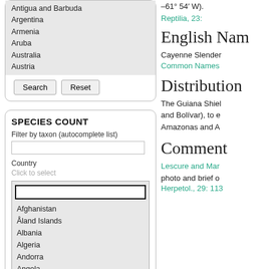Antigua and Barbuda
Argentina
Armenia
Aruba
Australia
Austria
Search  Reset
SPECIES COUNT
Filter by taxon (autocomplete list)
Country
Click to select
Afghanistan
Åland Islands
Albania
Algeria
Andorra
Angola
Anguilla
–61° 54′ W).
Reptilia, 23:
English Nam
Cayenne Slender
Common Names
Distribution
The Guiana Shiel and Bolívar), to e Amazonas and A
Comment
Lescure and Mar
photo and brief o
Herpetol., 29: 113